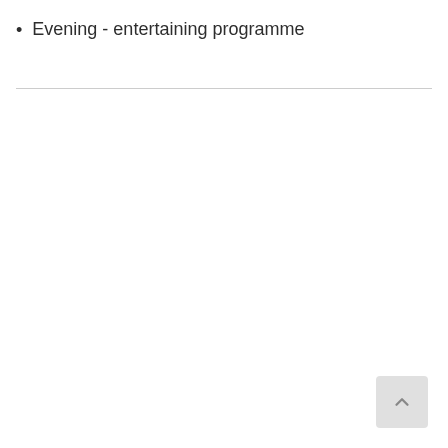Evening - entertaining programme